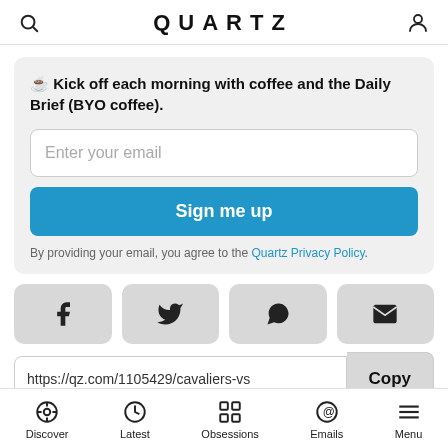QUARTZ
☕ Kick off each morning with coffee and the Daily Brief (BYO coffee).
Enter your email
Sign me up
By providing your email, you agree to the Quartz Privacy Policy.
[Figure (other): Social share buttons: Facebook, Twitter, WhatsApp, Email]
https://qz.com/1105429/cavaliers-vs
Copy
Discover  Latest  Obsessions  Emails  Menu